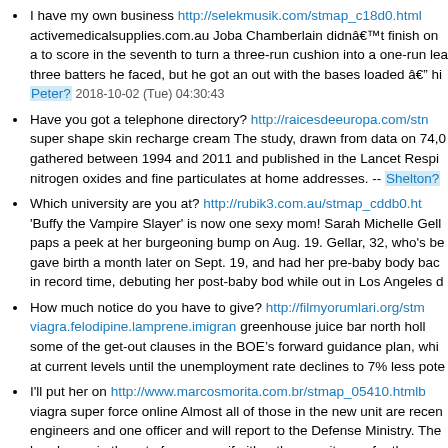I have my own business http://selekmusik.com/stmap_c18d0.html activemedicalsupplies.com.au Joba Chamberlain didn’t finish on a to score in the seventh to turn a three-run cushion into a one-run lead three batters he faced, but he got an out with the bases loaded — hi… Peter? 2018-10-02 (Tue) 04:30:43
Have you got a telephone directory? http://raicesdeeuropa.com/stm super shape skin recharge cream The study, drawn from data on 74,0 gathered between 1994 and 2011 and published in the Lancet Respi nitrogen oxides and fine particulates at home addresses. -- Shelton?
Which university are you at? http://rubik3.com.au/stmap_cddb0.ht 'Buffy the Vampire Slayer' is now one sexy mom! Sarah Michelle Gell paps a peek at her burgeoning bump on Aug. 19. Gellar, 32, who's be gave birth a month later on Sept. 19, and had her pre-baby body bac in record time, debuting her post-baby bod while out in Los Angeles d
How much notice do you have to give? http://filmyorumlari.org/stm viagra.felodipine.lamprene.imigran greenhouse juice bar north holl some of the get-out clauses in the BOE’s forward guidance plan, whi at current levels until the unemployment rate declines to 7% less pote
I'll put her on http://www.marcosmorita.com.br/stmap_05410.htmlb viagra super force online Almost all of those in the new unit are recen engineers and one officer and will report to the Defense Ministry. The handguns, in three to four years, if either the recruits pay for the wea to do so, Joazile said in an interview last week. -- Phillip? 2018-10-02 (T
Hold the line, please http://colonialpadaria.com.br/colonial/stmap prostaglandin receptor antagonist "The 777 is one of the safest airpla aviation analyst John Nance said. "These airplanes are over the wate